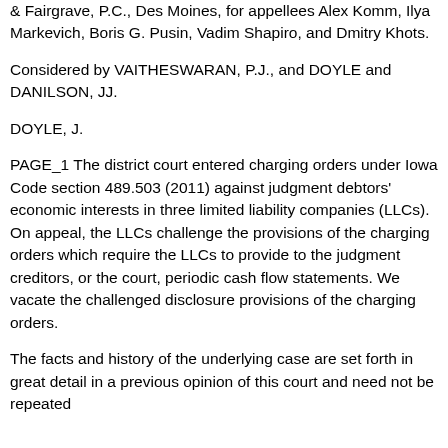& Fairgrave, P.C., Des Moines, for appellees Alex Komm, Ilya Markevich, Boris G. Pusin, Vadim Shapiro, and Dmitry Khots.
Considered by VAITHESWARAN, P.J., and DOYLE and DANILSON, JJ.
DOYLE, J.
PAGE_1 The district court entered charging orders under Iowa Code section 489.503 (2011) against judgment debtors' economic interests in three limited liability companies (LLCs). On appeal, the LLCs challenge the provisions of the charging orders which require the LLCs to provide to the judgment creditors, or the court, periodic cash flow statements. We vacate the challenged disclosure provisions of the charging orders.
The facts and history of the underlying case are set forth in great detail in a previous opinion of this court and need not be repeated